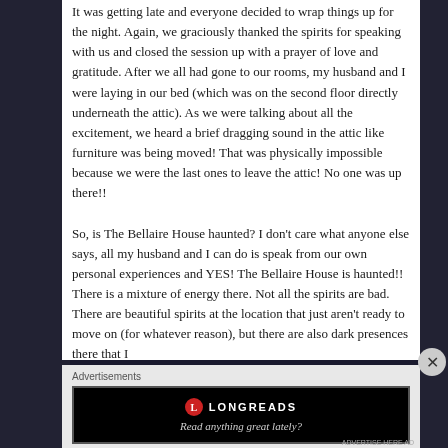It was getting late and everyone decided to wrap things up for the night. Again, we graciously thanked the spirits for speaking with us and closed the session up with a prayer of love and gratitude. After we all had gone to our rooms, my husband and I were laying in our bed (which was on the second floor directly underneath the attic). As we were talking about all the excitement, we heard a brief dragging sound in the attic like furniture was being moved! That was physically impossible because we were the last ones to leave the attic! No one was up there!!

So, is The Bellaire House haunted? I don't care what anyone else says, all my husband and I can do is speak from our own personal experiences and YES! The Bellaire House is haunted!! There is a mixture of energy there. Not all the spirits are bad. There are beautiful spirits at the location that just aren't ready to move on (for whatever reason), but there are also dark presences there that I
Advertisements
[Figure (screenshot): Longreads advertisement banner with black background, red circle logo, brand name LONGREADS, and tagline 'Read anything great lately?']